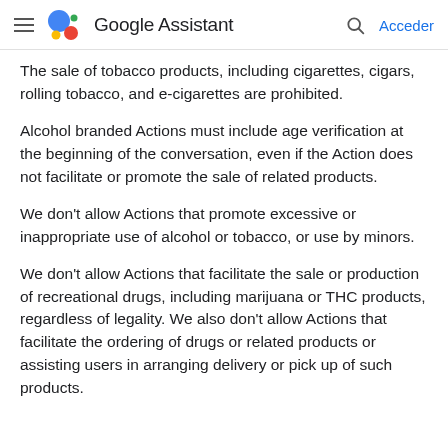Google Assistant — Acceder
The sale of tobacco products, including cigarettes, cigars, rolling tobacco, and e-cigarettes are prohibited.
Alcohol branded Actions must include age verification at the beginning of the conversation, even if the Action does not facilitate or promote the sale of related products.
We don't allow Actions that promote excessive or inappropriate use of alcohol or tobacco, or use by minors.
We don't allow Actions that facilitate the sale or production of recreational drugs, including marijuana or THC products, regardless of legality. We also don't allow Actions that facilitate the ordering of drugs or related products or assisting users in arranging delivery or pick up of such products.